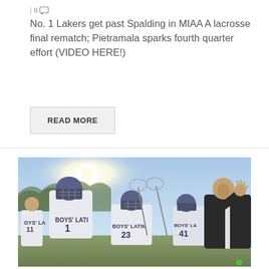| 0 💬
No. 1 Lakers get past Spalding in MIAA A lacrosse final rematch; Pietramala sparks fourth quarter effort (VIDEO HERE!)
READ MORE
[Figure (photo): Boys Latin lacrosse players in white jerseys numbered 11, 1, 23, 41 gathered around a coach on a sunny outdoor field]